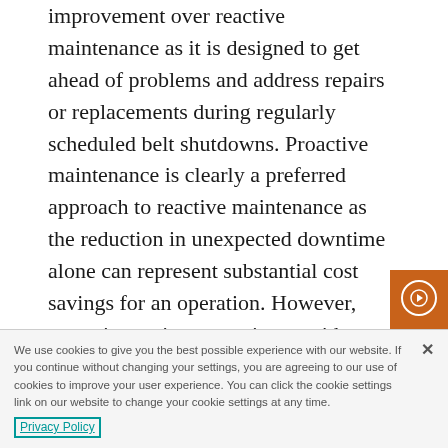improvement over reactive maintenance as it is designed to get ahead of problems and address repairs or replacements during regularly scheduled belt shutdowns. Proactive maintenance is clearly a preferred approach to reactive maintenance as the reduction in unexpected downtime alone can represent substantial cost savings for an operation. However, proactive maintenance is not without its own drawbacks.
The nature of proactive maintenance requires replacements or repairs be made around the schedule of the operation, not necessarily as the parts require maintenance. This is perhaps most commonly seen with
We use cookies to give you the best possible experience with our website. If you continue without changing your settings, you are agreeing to our use of cookies to improve your user experience. You can click the cookie settings link on our website to change your cookie settings at any time.
Privacy Policy